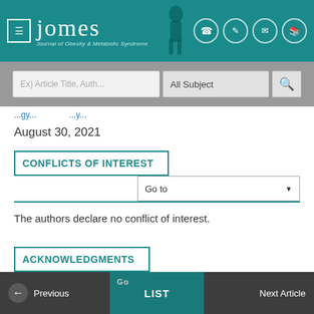jomes — Journal of Obesity & Metabolic Syndrome
August 30, 2021
CONFLICTS OF INTEREST
The authors declare no conflict of interest.
ACKNOWLEDGMENTS